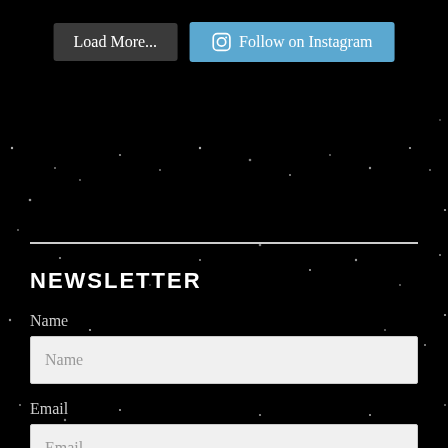[Figure (screenshot): Two buttons side by side: a dark grey 'Load More...' button and a blue 'Follow on Instagram' button with Instagram icon]
[Figure (illustration): Decorative star/dot particles scattered on black background]
NEWSLETTER
Name
Name (input placeholder)
Email
Email (input placeholder)
SUBMIT